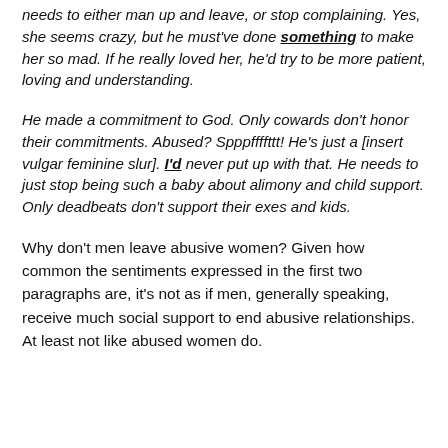needs to either man up and leave, or stop complaining. Yes, she seems crazy, but he must've done something to make her so mad. If he really loved her, he'd try to be more patient, loving and understanding.
He made a commitment to God. Only cowards don't honor their commitments. Abused? Spppffffttt! He's just a [insert vulgar feminine slur]. I'd never put up with that. He needs to just stop being such a baby about alimony and child support. Only deadbeats don't support their exes and kids.
Why don't men leave abusive women? Given how common the sentiments expressed in the first two paragraphs are, it's not as if men, generally speaking, receive much social support to end abusive relationships. At least not like abused women do.